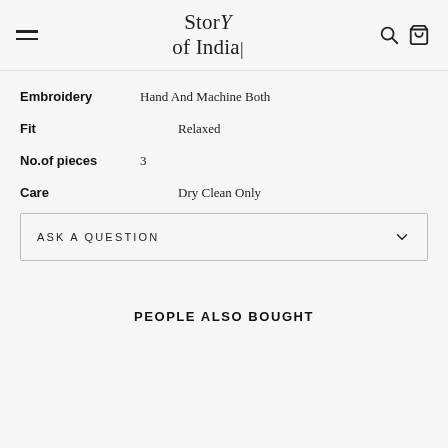Story of India
Embroidery: Hand And Machine Both
Fit: Relaxed
No.of pieces: 3
Care: Dry Clean Only
ASK A QUESTION
PEOPLE ALSO BOUGHT